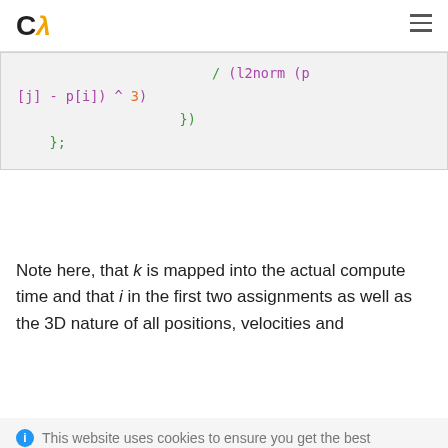Cλ
[Figure (screenshot): Code snippet showing partial Clojure/functional code with green and purple syntax highlighting. Lines include: / (l2norm (p [j] - p[i]) ^ 3) followed by }) and };]
Note here, that k is mapped into the actual compute time and that i in the first two assignments as well as the 3D nature of all positions, velocities and
This website uses cookies to ensure you get the best experience on our website
OK